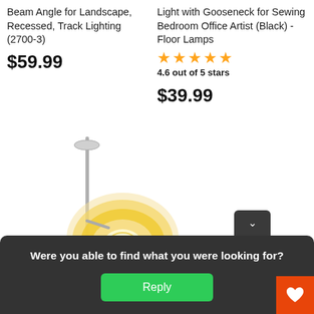Beam Angle for Landscape, Recessed, Track Lighting (2700-3)
$59.99
Light with Gooseneck for Sewing Bedroom Office Artist (Black) - Floor Lamps
4.6 out of 5 stars
$39.99
[Figure (photo): Floor lamp product photo showing a modern lamp with a large circular disc shade emitting warm light and a tall slim pole with base]
Were you able to find what you were looking for?
Reply
18W D